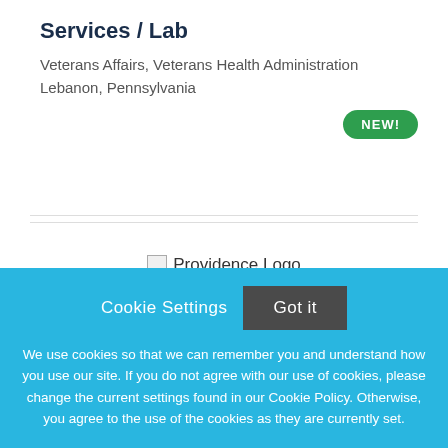Services / Lab
Veterans Affairs, Veterans Health Administration
Lebanon, Pennsylvania
NEW!
[Figure (logo): Providence Logo placeholder image]
Cookie Settings   Got it
We use cookies so that we can remember you and understand how you use our site. If you do not agree with our use of cookies, please change the current settings found in our Cookie Policy. Otherwise, you agree to the use of the cookies as they are currently set.